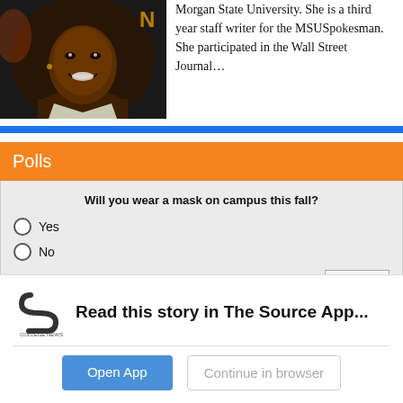[Figure (photo): Headshot photo of a young Black woman smiling, with a dark background and what appears to be a letter 'N' visible in the upper right of the photo.]
Morgan State University. She is a third year staff writer for the MSUSpokesman. She participated in the Wall Street Journal...
Polls
Will you wear a mask on campus this fall?
Yes
No
Vote
Read this story in The Source App...
[Figure (logo): College News Source app logo — a stylized 'S' shape in dark gray]
Open App
Continue in browser